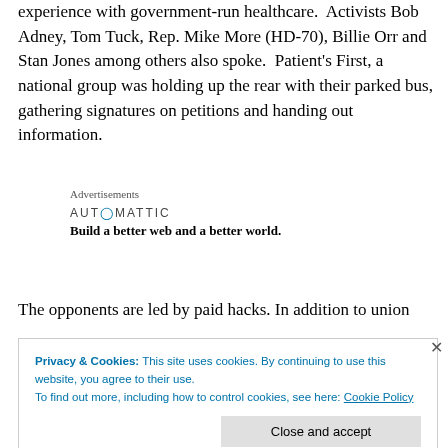experience with government-run healthcare.  Activists Bob Adney, Tom Tuck, Rep. Mike More (HD-70), Billie Orr and Stan Jones among others also spoke.  Patient's First, a national group was holding up the rear with their parked bus, gathering signatures on petitions and handing out information.
Advertisements
AUTOMATTIC
Build a better web and a better world.
The opponents are led by paid hacks. In addition to union
Privacy & Cookies: This site uses cookies. By continuing to use this website, you agree to their use.
To find out more, including how to control cookies, see here: Cookie Policy
Close and accept